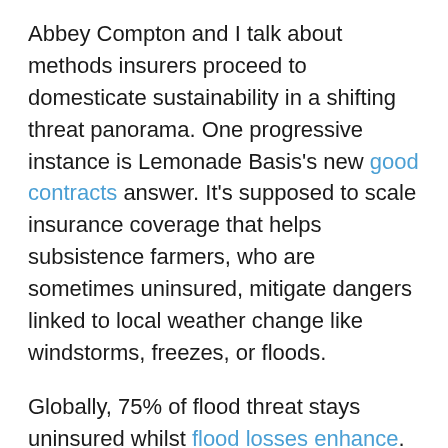Abbey Compton and I talk about methods insurers proceed to domesticate sustainability in a shifting threat panorama. One progressive instance is Lemonade Basis's new good contracts answer. It's supposed to scale insurance coverage that helps subsistence farmers, who are sometimes uninsured, mitigate dangers linked to local weather change like windstorms, freezes, or floods.
Globally, 75% of flood threat stays uninsured whilst flood losses enhance. The rollout of FEMA's new Nationwide Flood Insurance coverage Program mannequin could be the catalyst to overdue agent conversations about property underinsurance.
The Casualty Actuarial Society is searching for to deal with historic racial disparities within the business. They're taking a look at different knowledge sources for underwriters that might assist overcome race-related biases. Abbey could be...